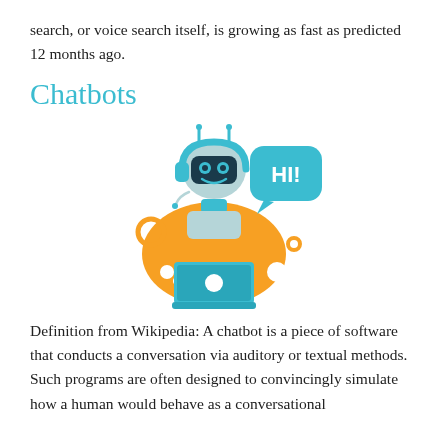search, or voice search itself, is growing as fast as predicted 12 months ago.
Chatbots
[Figure (illustration): A cartoon chatbot robot with teal/cyan headset, orange background splash, sitting at a teal laptop, with a speech bubble saying 'HI!' in white text. Orange decorative circles around the robot.]
Definition from Wikipedia: A chatbot is a piece of software that conducts a conversation via auditory or textual methods. Such programs are often designed to convincingly simulate how a human would behave as a conversational